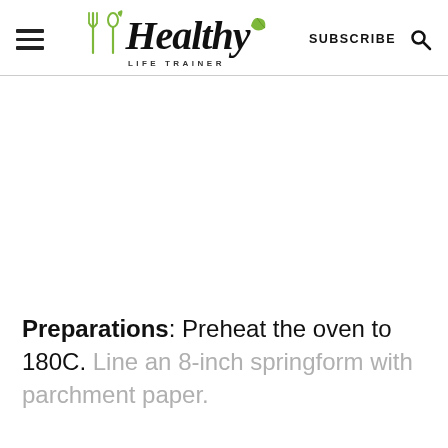Healthy Life Trainer — SUBSCRIBE
[Figure (illustration): White/blank image area placeholder below the header navigation bar]
Preparations: Preheat the oven to 180C. Line an 8-inch springform with parchment paper.